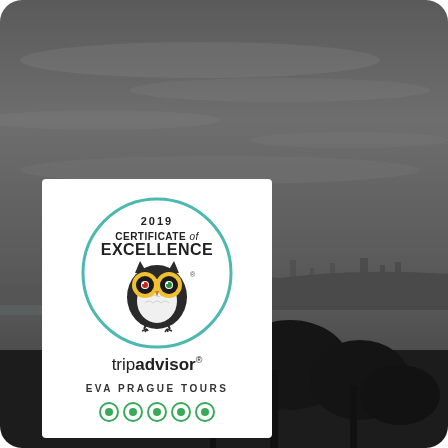[Figure (photo): Dark cityscape panorama of Prague with dramatic overcast sky, city skyline visible in the background, trees in foreground]
[Figure (logo): TripAdvisor 2019 Certificate of Excellence badge for EVA PRAGUE TOURS, featuring TripAdvisor owl logo in a teal circle, with 5-dot rating at the bottom]